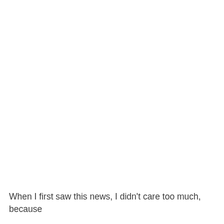When I first saw this news, I didn't care too much, because